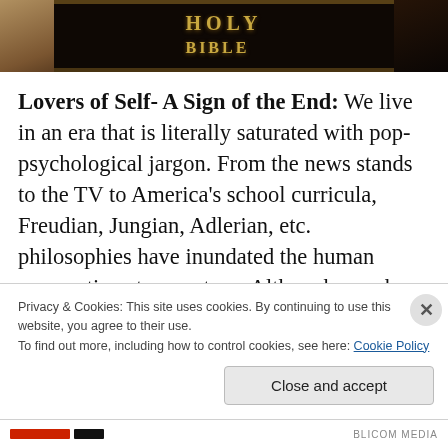[Figure (photo): Cropped image of a black Holy Bible book with gold lettering, viewed from above on a surface with a strap visible]
Lovers of Self- A Sign of the End: We live in an era that is literally saturated with pop-psychological jargon.  From the news stands to the TV to America's school curricula, Freudian, Jungian, Adlerian, etc. philosophies have inundated the human perspective at every turn. Although men have always been lovers of self, there has never been a time in history where the solution for all men's ills has been so falsely sold as simply having high self-esteem
Privacy & Cookies: This site uses cookies. By continuing to use this website, you agree to their use.
To find out more, including how to control cookies, see here: Cookie Policy
Close and accept